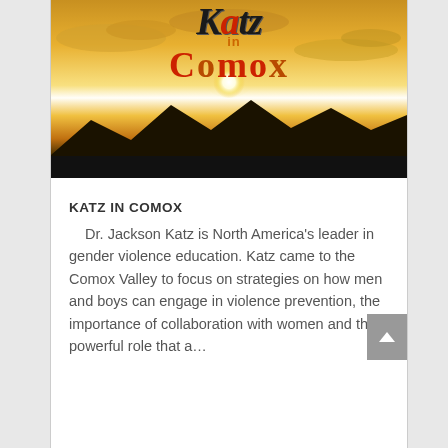[Figure (photo): Sunset image with silhouetted mountains and clouds, with 'Katz in Comox' logo overlaid on top]
KATZ IN COMOX
Dr. Jackson Katz is North America's leader in gender violence education. Katz came to the Comox Valley to focus on strategies on how men and boys can engage in violence prevention, the importance of collaboration with women and the powerful role that a...